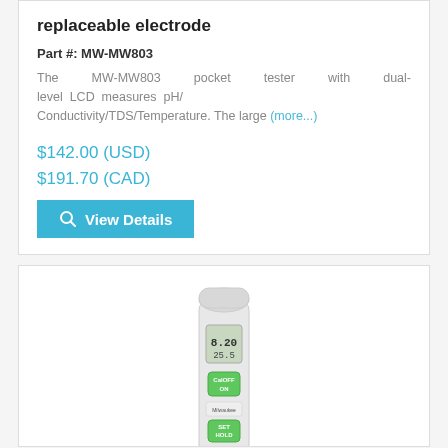replaceable electrode
Part #: MW-MW803
The MW-MW803 pocket tester with dual-level LCD measures pH/Conductivity/TDS/Temperature. The large (more...)
$142.00 (USD)
$191.70 (CAD)
View Details
[Figure (photo): White pen-style pocket tester device (MW-MW803) with dual-level LCD display showing 8.20 and 25.5, and buttons labeled CalOFF/ON and SET HOLD, with a Milwaukee Instruments logo]